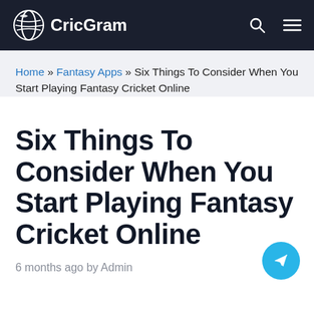CricGram
Home » Fantasy Apps » Six Things To Consider When You Start Playing Fantasy Cricket Online
Six Things To Consider When You Start Playing Fantasy Cricket Online
6 months ago by Admin